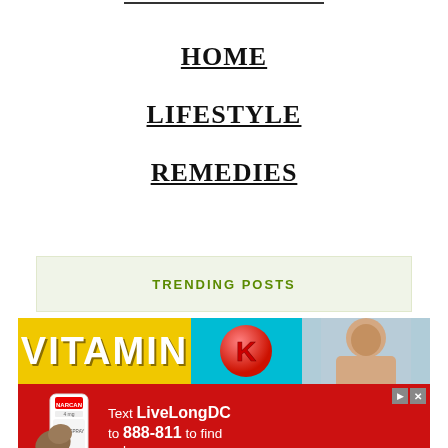HOME
LIFESTYLE
REMEDIES
TRENDING POSTS
[Figure (photo): Vitamin K promotional image showing bold yellow text on left, red K letter circle in center on cyan background, and partial person photo on right]
[Figure (infographic): Red advertisement banner: 'Text LiveLongDC to 888-811 to find naloxone near you.' with nasal spray device image on left and Live Long DC / DBH / DC Government logos at bottom]